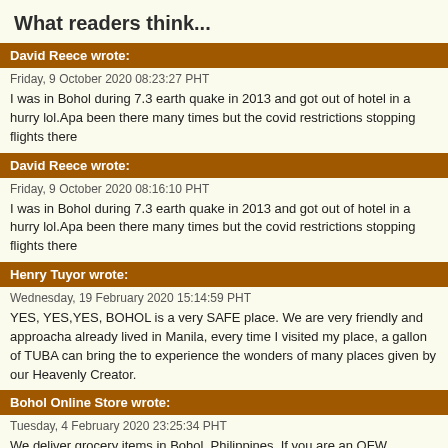What readers think...
David Reece wrote:
Friday, 9 October 2020 08:23:27 PHT
I was in Bohol during 7.3 earth quake in 2013 and got out of hotel in a hurry lol.Apa been there many times but the covid restrictions stopping flights there
David Reece wrote:
Friday, 9 October 2020 08:16:10 PHT
I was in Bohol during 7.3 earth quake in 2013 and got out of hotel in a hurry lol.Apa been there many times but the covid restrictions stopping flights there
Henry Tuyor wrote:
Wednesday, 19 February 2020 15:14:59 PHT
YES, YES,YES, BOHOL is a very SAFE place. We are very friendly and approacha already lived in Manila, every time I visited my place, a gallon of TUBA can bring the to experience the wonders of many places given by our Heavenly Creator.
Bohol Online Store wrote:
Tuesday, 4 February 2020 23:25:34 PHT
We deliver grocery items in Bohol, Philippines. If you are an OFW, overseas worker your family, instead of money you can send them groceries. Visit our website at ww storebohol@gmail.com
wayne wrote:
Wednesday, 11 April 2018 11:14:53 PHT
I have been to Bohol 5x times an met many locals in tiptip pangalo beach visayes I there salamat wayne scherf
Read all 37 comments by readers.